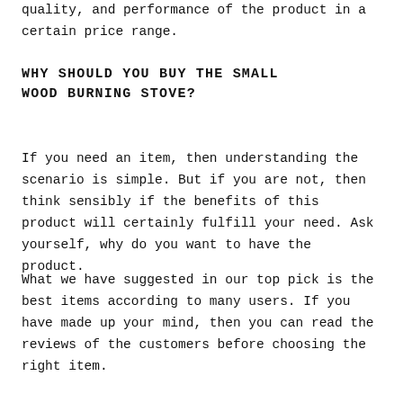quality, and performance of the product in a certain price range.
WHY SHOULD YOU BUY THE SMALL WOOD BURNING STOVE?
If you need an item, then understanding the scenario is simple. But if you are not, then think sensibly if the benefits of this product will certainly fulfill your need. Ask yourself, why do you want to have the product.
What we have suggested in our top pick is the best items according to many users. If you have made up your mind, then you can read the reviews of the customers before choosing the right item.